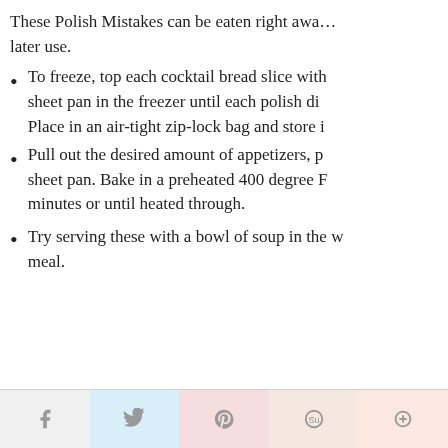These Polish Mistakes can be eaten right away or frozen for later use.
To freeze, top each cocktail bread slice with the topping. Place on a sheet pan in the freezer until each polish di... Place in an air-tight zip-lock bag and store in...
Pull out the desired amount of appetizers, place on a sheet pan. Bake in a preheated 400 degree F... minutes or until heated through.
Try serving these with a bowl of soup in the w... meal.